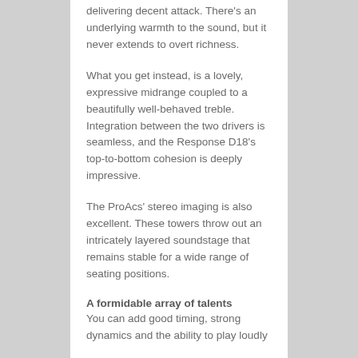delivering decent attack. There's an underlying warmth to the sound, but it never extends to overt richness.
What you get instead, is a lovely, expressive midrange coupled to a beautifully well-behaved treble. Integration between the two drivers is seamless, and the Response D18's top-to-bottom cohesion is deeply impressive.
The ProAcs' stereo imaging is also excellent. These towers throw out an intricately layered soundstage that remains stable for a wide range of seating positions.
A formidable array of talents
You can add good timing, strong dynamics and the ability to play loudly